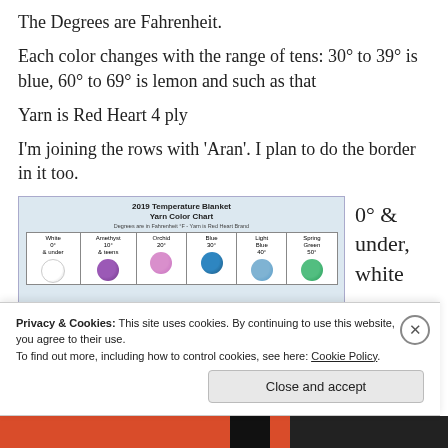The Degrees are Fahrenheit.
Each color changes with the range of tens: 30° to 39° is blue, 60° to 69° is lemon and such as that
Yarn is Red Heart 4 ply
I'm joining the rows with 'Aran'. I plan to do the border in it too.
[Figure (table-as-image): 2019 Temperature Blanket Yarn Color Chart showing yarn colors for temperature ranges. Degrees are in Fahrenheit °F - Yarn is Red Heart Brand. Columns: White 0° & under, Amethyst 10° & teens, Orchid 20°, Blue 30°, Light Blue 40°, Spring Green 50°]
0° & under, white
Privacy & Cookies: This site uses cookies. By continuing to use this website, you agree to their use.
To find out more, including how to control cookies, see here: Cookie Policy
Close and accept